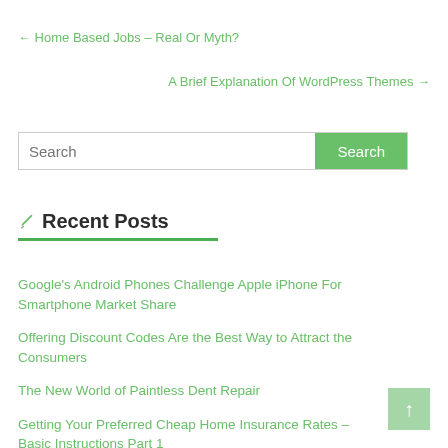← Home Based Jobs – Real Or Myth?
A Brief Explanation Of WordPress Themes →
Search
✏ Recent Posts
Google's Android Phones Challenge Apple iPhone For Smartphone Market Share
Offering Discount Codes Are the Best Way to Attract the Consumers
The New World of Paintless Dent Repair
Getting Your Preferred Cheap Home Insurance Rates – Basic Instructions Part 1